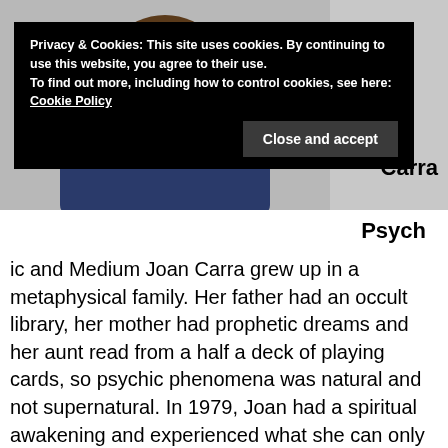[Figure (photo): Photo of a woman with hands clasped under her chin, dark hair, wearing a dark blue top, against a light grey background. Upper portion is cropped.]
Privacy & Cookies: This site uses cookies. By continuing to use this website, you agree to their use.
To find out more, including how to control cookies, see here:
Cookie Policy
Close and accept
Carra
Psych ic and Medium Joan Carra grew up in a metaphysical family. Her father had an occult library, her mother had prophetic dreams and her aunt read from a half a deck of playing cards, so psychic phenomena was natural and not supernatural. In 1979, Joan had a spiritual awakening and experienced what she can only describe “as a light that made me aware of the